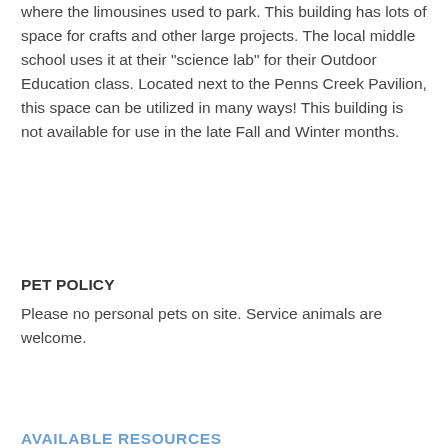where the limousines used to park. This building has lots of space for crafts and other large projects.  The local middle school uses it at their "science lab" for their Outdoor Education class.  Located next to the Penns Creek Pavilion, this space can be utilized in many ways!  This building is not available for use in the late Fall and Winter months.
PET POLICY
Please no personal pets on site.  Service animals are welcome.
AVAILABLE RESOURCES